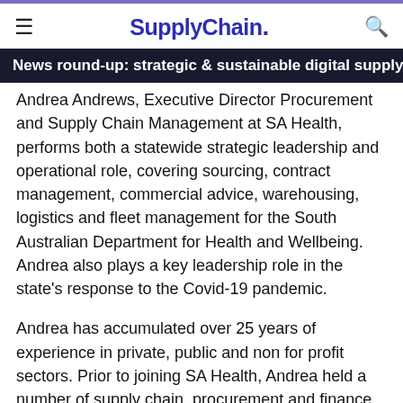SupplyChain.
News round-up: strategic & sustainable digital supply chain
Andrea Andrews, Executive Director Procurement and Supply Chain Management at SA Health, performs both a statewide strategic leadership and operational role, covering sourcing, contract management, commercial advice, warehousing, logistics and fleet management for the South Australian Department for Health and Wellbeing. Andrea also plays a key leadership role in the state's response to the Covid-19 pandemic.
Andrea has accumulated over 25 years of experience in private, public and non for profit sectors. Prior to joining SA Health, Andrea held a number of supply chain, procurement and finance roles both in Australia and the United Kingdom for a wide range of well-respected organisations such as Capgemini, Santos, Blueys, Benchmark Electronics, Motorola and IBM.